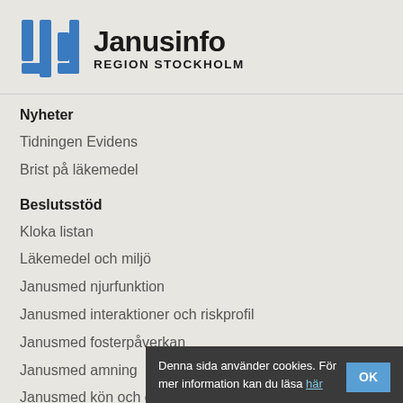[Figure (logo): Janusinfo Region Stockholm logo — blue stylized double-bar letter J icon on left, bold black text 'Janusinfo' large, below it 'REGION STOCKHOLM' in smaller caps]
Nyheter
Tidningen Evidens
Brist på läkemedel
Beslutsstöd
Kloka listan
Läkemedel och miljö
Janusmed njurfunktion
Janusmed interaktioner och riskprofil
Janusmed fosterpåverkan
Janusmed amning
Janusmed kön och genus
Ställ frågor om läkemedel
Denna sida använder cookies. För mer information kan du läsa här  OK